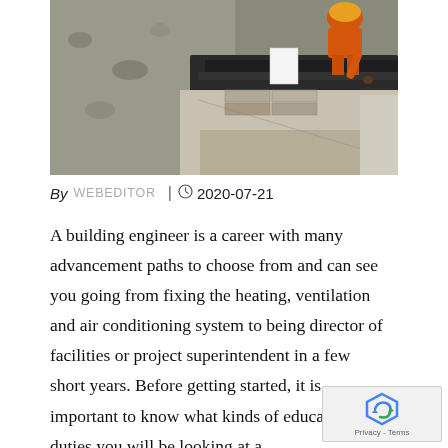[Figure (photo): Aerial view of a construction worker in orange overalls laying bricks/blocks along a concrete channel with gravel/aggregate material visible]
By  WEBEDITOR  |  2020-07-21
A building engineer is a career with many advancement paths to choose from and can see you going from fixing the heating, ventilation and air conditioning system to being director of facilities or project superintendent in a few short years. Before getting started, it is important to know what kinds of education and duties you will be looking at as well as what kinds of qualities employers are looking for.